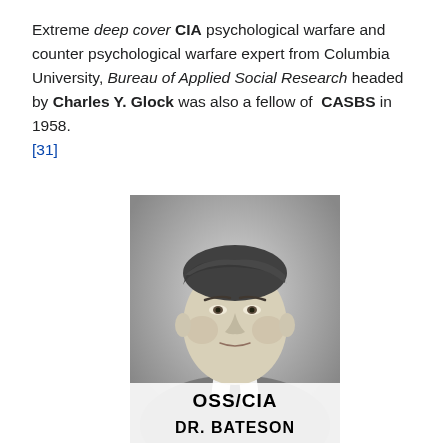Extreme deep cover CIA psychological warfare and counter psychological warfare expert from Columbia University, Bureau of Applied Social Research headed by Charles Y. Glock was also a fellow of CASBS in 1958. [31]
[Figure (photo): Black and white photograph of a man (Dr. Bateson) with text overlay at the bottom reading 'OSS/CIA' and 'DR. BATESON']